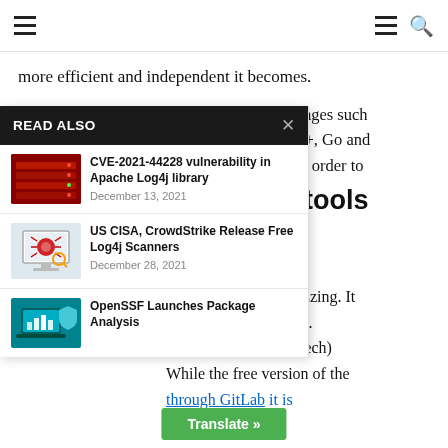Navigation bar with hamburger menu, menu icon, and search icon
more efficient and independent it becomes.
a variety of languages such ran, Jovial, C, C++, Go and the source code in order to
ce fuzzing tools
uzzer
as filed under the paid wrote an article on fuzzing. It engine for many years. ent company (PeachTech) While the free version of the through GitLab it is
[Figure (screenshot): READ ALSO panel overlay with dark header, close X button, and three article items: 'CVE-2021-44228 vulnerability in Apache Log4j library' (December 13, 2021), 'US CISA, CrowdStrike Release Free Log4j Scanners' (December 28, 2021), 'OpenSSF Launches Package Analysis' with thumbnail images]
READ ALSO
CVE-2021-44228 vulnerability in Apache Log4j library — December 13, 2021
US CISA, CrowdStrike Release Free Log4j Scanners — December 28, 2021
OpenSSF Launches Package Analysis
Translate »